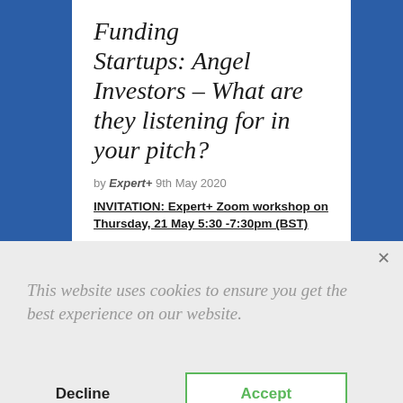Funding Startups: Angel Investors – What are they listening for in your pitch?
by Expert+ 9th May 2020
INVITATION:  Expert+ Zoom workshop on Thursday, 21 May 5:30 -7:30pm (BST)
This website uses cookies to ensure you get the best experience on our website.
Decline
Accept
angel investors presenting their